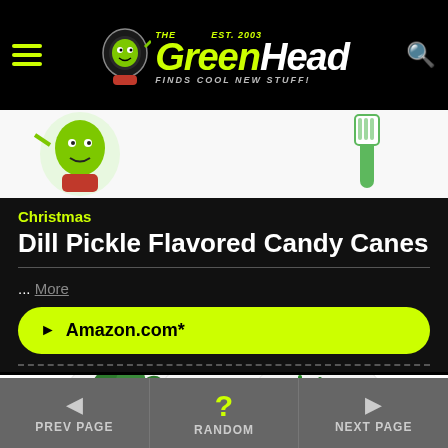The Green Head - Finds Cool New Stuff!
[Figure (screenshot): Partial product image showing green character figurine on left and green/white toothbrush on right, white background]
Christmas
Dill Pickle Flavored Candy Canes
... More
► Amazon.com*
[Figure (photo): Three glass jar-shaped containers holding fresh green herbs: cilantro on left, rosemary in middle, dill on right, white background]
◄ PREV PAGE   ? RANDOM   ► NEXT PAGE